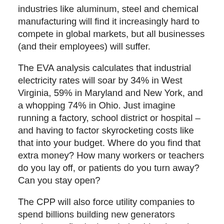industries like aluminum, steel and chemical manufacturing will find it increasingly hard to compete in global markets, but all businesses (and their employees) will suffer.
The EVA analysis calculates that industrial electricity rates will soar by 34% in West Virginia, 59% in Maryland and New York, and a whopping 74% in Ohio. Just imagine running a factory, school district or hospital – and having to factor skyrocketing costs like that into your budget. Where do you find that extra money? How many workers or teachers do you lay off, or patients do you turn away? Can you stay open?
The CPP will also force utility companies to spend billions building new generators (mostly gas-fired, plus wind turbines), and new transmission lines, gas lines and other infrastructure. But EPA does not